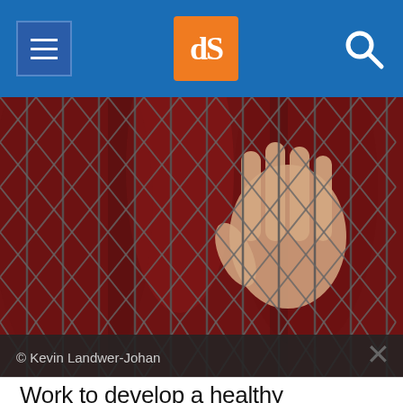dPS [logo] navigation header with menu and search
[Figure (photo): A person's hand gripping a chain-link fence with a dark red/maroon background, suggesting confinement or longing. © Kevin Landwer-Johan]
© Kevin Landwer-Johan
Work to develop a healthy relationship between your subject and their props. This is part of your job as a photographer. Doing this, you'll create more entertaining portraits.